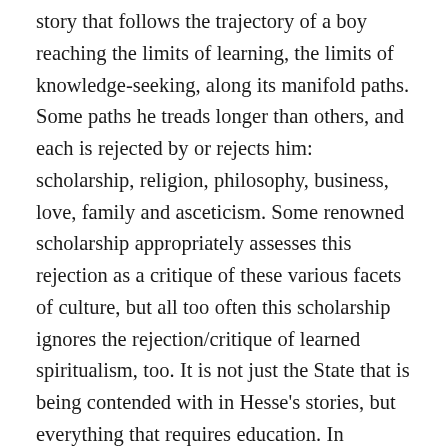story that follows the trajectory of a boy reaching the limits of learning, the limits of knowledge-seeking, along its manifold paths. Some paths he treads longer than others, and each is rejected by or rejects him: scholarship, religion, philosophy, business, love, family and asceticism. Some renowned scholarship appropriately assesses this rejection as a critique of these various facets of culture, but all too often this scholarship ignores the rejection/critique of learned spiritualism, too. It is not just the State that is being contended with in Hesse's stories, but everything that requires education. In defining »the American Youth Movement« and its protest against the State, Egon Schwarz once argued the sameness of Hesse's so-called »grievances« and those of the »American radicals«: